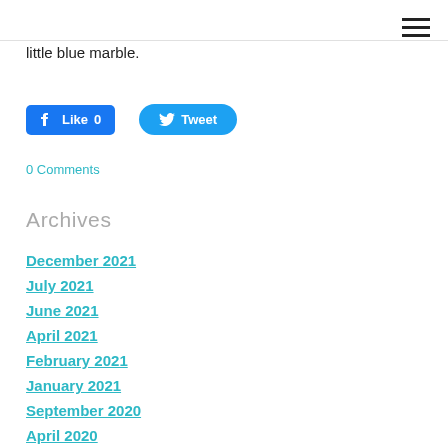little blue marble.
[Figure (other): Facebook Like button showing 'Like 0' and Twitter Tweet button]
0 Comments
Archives
December 2021
July 2021
June 2021
April 2021
February 2021
January 2021
September 2020
April 2020
March 2020